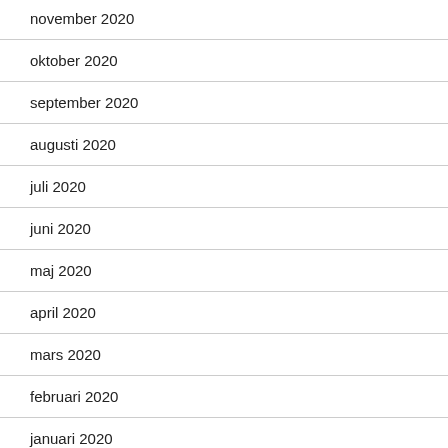november 2020
oktober 2020
september 2020
augusti 2020
juli 2020
juni 2020
maj 2020
april 2020
mars 2020
februari 2020
januari 2020